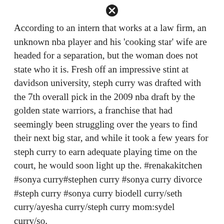[Figure (other): Close/cancel icon (circle with X) at top center]
According to an intern that works at a law firm, an unknown nba player and his ‘cooking star’ wife are headed for a separation, but the woman does not state who it is. Fresh off an impressive stint at davidson university, steph curry was drafted with the 7th overall pick in the 2009 nba draft by the golden state warriors, a franchise that had seemingly been struggling over the years to find their next big star, and while it took a few years for steph curry to earn adequate playing time on the court, he would soon light up the. #renakakitchen #sonya curry#stephen curry #sonya curry divorce #steph curry #sonya curry biodell curry/seth curry/ayesha curry/steph curry mom:sydel curry/so.
Peep Their Crazy Posts Inside.
[Figure (other): Close/cancel icon (circle with X) at bottom center]